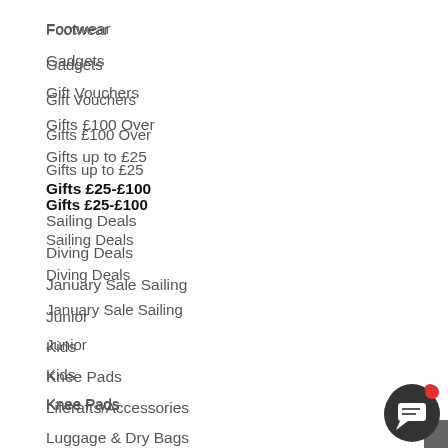Footwear
Gadgets
Gift Vouchers
Gifts £100 Over
Gifts up to £25
Gifts £25-£100
Sailing Deals
Diving Deals
January Sale Sailing
Junior
Kids
Knee Pads
Liferafts/Accessories
Luggage & Dry Bags
[Figure (illustration): Dark circular chat/messaging icon with a red notification dot in the top-right corner]